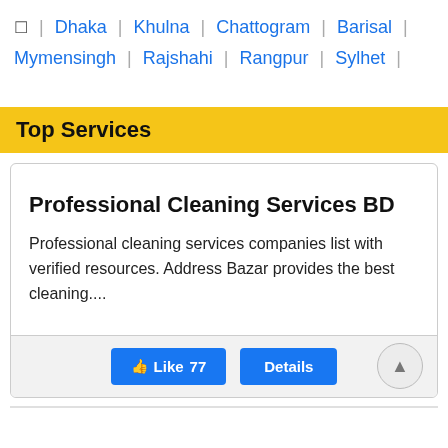🏠 | Dhaka | Khulna | Chattogram | Barisal | Mymensingh | Rajshahi | Rangpur | Sylhet |
Top Services
Professional Cleaning Services BD
Professional cleaning services companies list with verified resources. Address Bazar provides the best cleaning....